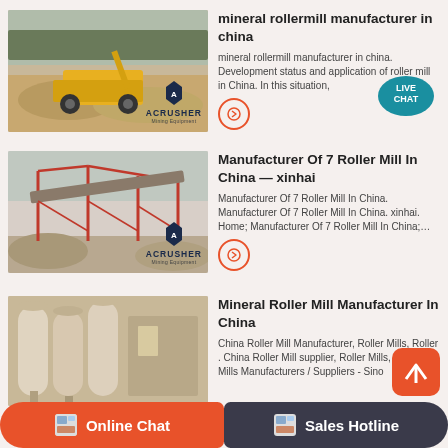mineral rollermill manufacturer in china
mineral rollermill manufacturer in china. Development status and application of roller mill in China. In this situation,
[Figure (photo): Open-pit mining site with yellow heavy equipment and crushed stone piles, ACRUSHER Mining Equipment logo]
Manufacturer Of 7 Roller Mill In China — xinhai
Manufacturer Of 7 Roller Mill In China. Manufacturer Of 7 Roller Mill In China. xinhai. Home; Manufacturer Of 7 Roller Mill In China;…
[Figure (photo): Industrial conveyor belt system with red steel frame structure, ACRUSHER Mining Equipment logo]
Mineral Roller Mill Manufacturer In China
China Roller Mill Manufacturer, Roller Mills, Roller . China Roller Mill supplier, Roller Mills, Roller Mills Manufacturers / Suppliers - Sino
[Figure (photo): Large industrial mill/silo structures in a factory setting]
Online Chat
Sales Hotline